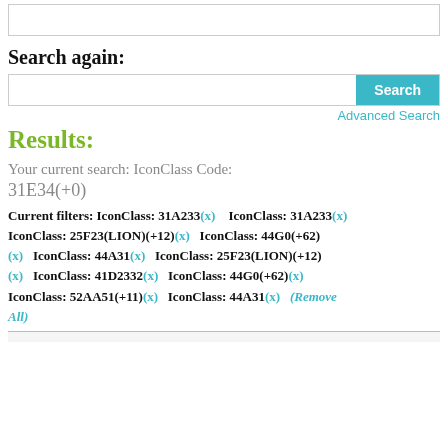[Figure (screenshot): Top search box input area, partially visible at top of page]
Search again:
[Figure (screenshot): Search input bar with Search button on right]
Advanced Search
Results:
Your current search: IconClass Code:
31E34(+0)
Current filters: IconClass: 31A233(x)   IconClass: 31A233(x) IconClass: 25F23(LION)(+12)(x)   IconClass: 44G0(+62)(x)   IconClass: 44A31(x)   IconClass: 25F23(LION)(+12)(x)   IconClass: 41D2332(x)   IconClass: 44G0(+62)(x) IconClass: 52AA51(+11)(x)   IconClass: 44A31(x)   (Remove All)